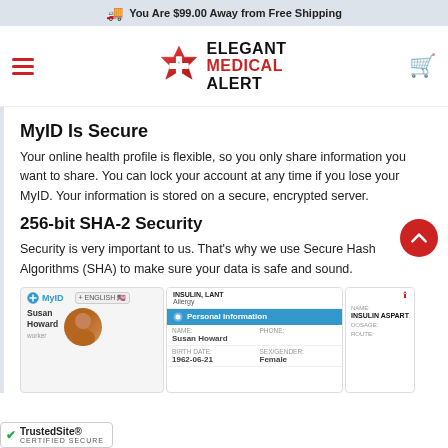You Are $99.00 Away from Free Shipping
[Figure (logo): Elegant Medical Alert logo with red Star of Life symbol and bold text ELEGANT MEDICAL ALERT]
MyID Is Secure
Your online health profile is flexible, so you only share information you want to share. You can lock your account at any time if you lose your MyID. Your information is stored on a secure, encrypted server.
256-bit SHA-2 Security
Security is very important to us. That's why we use Secure Hash Algorithms (SHA) to make sure your data is safe and sound.
[Figure (screenshot): MyID health profile screenshot showing Susan Howard's profile with personal information panel including name, phone, birth date, gender fields, and medication INSULIN ASPART listed]
[Figure (logo): TrustedSite Certified Secure badge in bottom left corner]